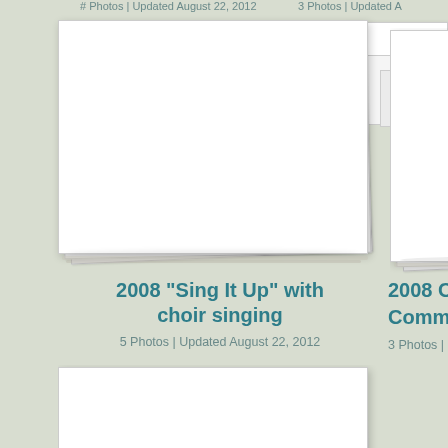# Photos | Updated August 22, 2012
[Figure (photo): Stack of blank white photo album pages for '2008 Sing It Up with choir singing']
2008 "Sing It Up" with choir singing
5 Photos | Updated August 22, 2012
[Figure (photo): Partial stack of blank white photo album pages for '2008 City of ... Community']
2008 City of ... Community
3 Photos | Updated ...
[Figure (photo): Stack of blank white photo album pages (bottom row, partially visible)]